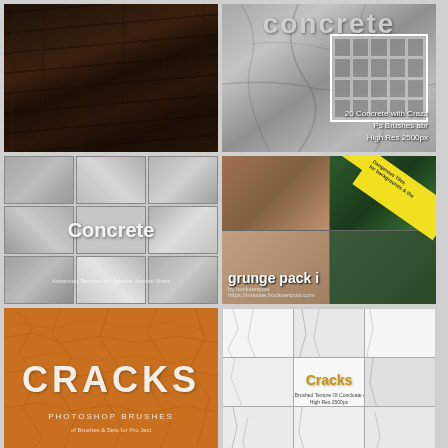[Figure (photo): Dark wood grain texture, very dark brown/black tones]
[Figure (photo): Cracked concrete pavement texture with 'concrete' title text and brush preview grid showing 20 Concrete with Crazz Ps Brushes abr High Res 2500px]
[Figure (photo): Concrete texture brush pack shown in 3x3 grid with 'Concrete' label overlay]
[Figure (photo): Grunge pack i - 2x2 grid of mixed grunge textures with yellow caution tape diagonal]
[Figure (photo): Orange cracked earth/paint texture with CRACKS PHOTOSHOP BRUSHES text overlay]
[Figure (photo): White cracked surface texture brush pack in 3x3 grid with gold 'Cracks' label]